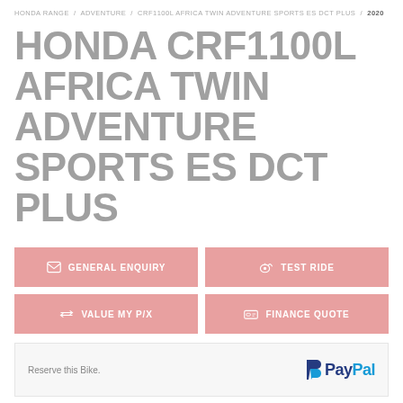HONDA RANGE / ADVENTURE / CRF1100L AFRICA TWIN ADVENTURE SPORTS ES DCT PLUS / 2020
HONDA CRF1100L AFRICA TWIN ADVENTURE SPORTS ES DCT PLUS
GENERAL ENQUIRY
TEST RIDE
VALUE MY P/X
FINANCE QUOTE
Reserve this Bike.